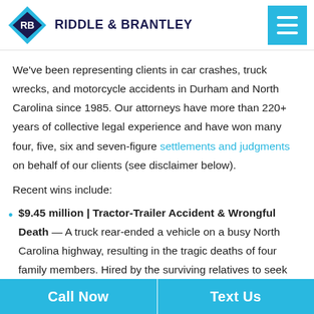Riddle & Brantley
We've been representing clients in car crashes, truck wrecks, and motorcycle accidents in Durham and North Carolina since 1985. Our attorneys have more than 220+ years of collective legal experience and have won many four, five, six and seven-figure settlements and judgments on behalf of our clients (see disclaimer below).
Recent wins include:
$9.45 million | Tractor-Trailer Accident & Wrongful Death — A truck rear-ended a vehicle on a busy North Carolina highway, resulting in the tragic deaths of four family members. Hired by the surviving relatives to seek
Call Now | Text Us